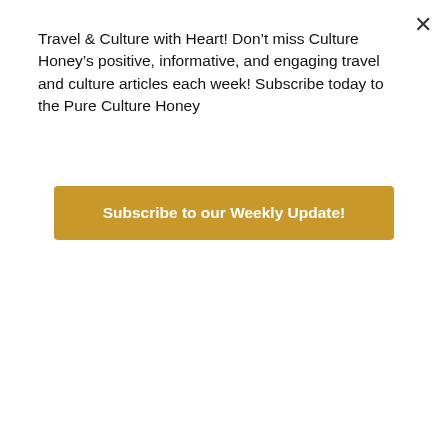Travel & Culture with Heart! Don't miss Culture Honey's positive, informative, and engaging travel and culture articles each week! Subscribe today to the Pure Culture Honey
[Figure (other): Golden/amber subscribe button with white bold text 'Subscribe to our Weekly Update!']
[Figure (photo): Black and white photo strip, partially visible, dark toned concert or event photograph]
Nipsey Hussle Tribute: The Prolific Ermias Asghedom
It was inspiring to witness that because he could have easily cancelled his show – most artists would have – but with the confidence Nip had to proceed and finish the mission, he instead used it as motivation, which in turn inspired fans in the crowd like myself to keep going and overcome obstacles, looking at